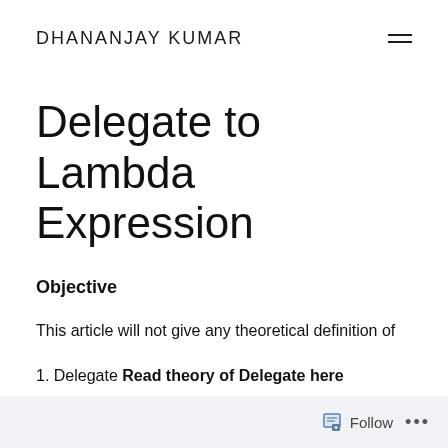DHANANJAY KUMAR
Delegate to Lambda Expression
Objective
This article will not give any theoretical definition of
1. Delegate Read theory of Delegate here
2. Anonymous method
Follow ...